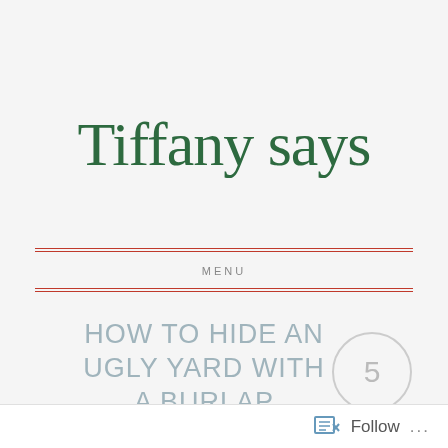Tiffany says
MENU
HOW TO HIDE AN UGLY YARD WITH A BURLAP CURTAIN SCREEN
Follow ...